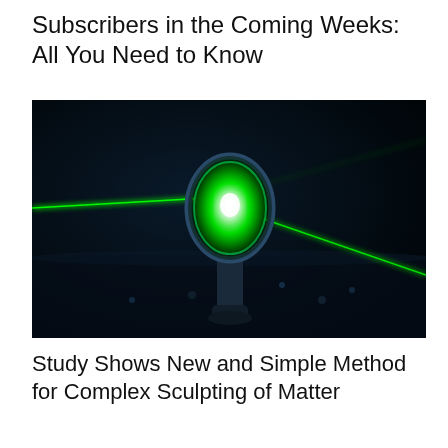Subscribers in the Coming Weeks: All You Need to Know
[Figure (photo): A bright green laser beam passing through a circular optical lens or mirror mounted on a metal post on a dark optical bench. The lens glows intensely green with a bright white hot spot at its center, and green laser beams radiate to the left and lower right against a dark blue-black background.]
Study Shows New and Simple Method for Complex Sculpting of Matter